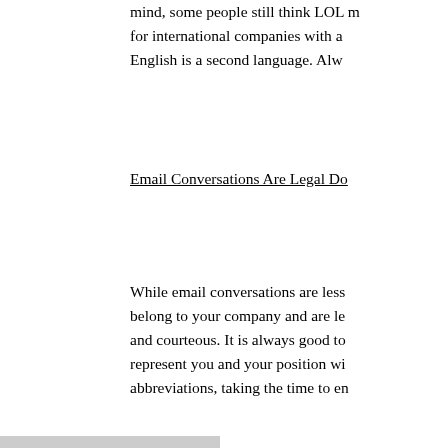mind, some people still think LOL means 'lots of love.' This is especially true for international companies with a workforce where English is a second language. Alw
Email Conversations Are Legal Do
While email conversations are less formal, they belong to your company and are le and courteous. It is always good to represent you and your position wi abbreviations, taking the time to en
Email Correspondence
Email correspondence is anything that goes outside your or vendors, and so on. In this case, e message moves the email into the rules governing business correspo email is irrelevant.